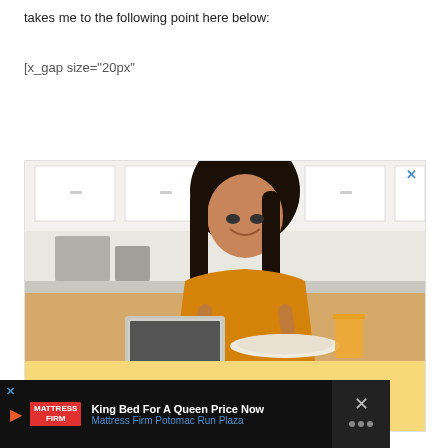takes me to the following point here below:
[x_gap size="20px"
[Figure (photo): Advertisement image showing a young Asian woman in an orange/mustard shirt smiling and eating breakfast at a kitchen counter with a laptop, orange juice, and plate of food. Below the photo is a yellow banner with the hashtag #AloneTogether in bold orange italic text.]
[Figure (infographic): Bottom advertisement bar with black background showing Mattress Firm ad: 'King Bed For A Queen Price Now' with 'Mattress Firm Potomac Run Plaza' subtitle in blue, blue navigation arrow icon, and close X button on the right side with dots icon.]